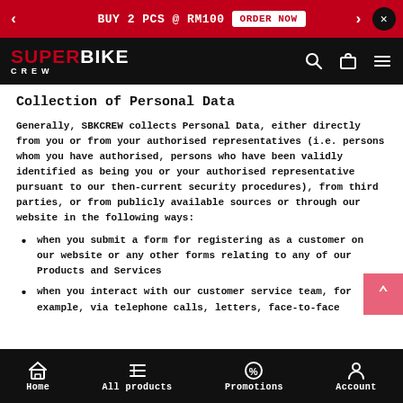BUY 2 PCS @ RM100  ORDER NOW
[Figure (logo): SUPERBIKE CREW logo in white and red on black navigation bar]
Collection of Personal Data
Generally, SBKCREW collects Personal Data, either directly from you or from your authorised representatives (i.e. persons whom you have authorised, persons who have been validly identified as being you or your authorised representative pursuant to our then-current security procedures), from third parties, or from publicly available sources or through our website in the following ways:
when you submit a form for registering as a customer on our website or any other forms relating to any of our Products and Services
when you interact with our customer service team, for example, via telephone calls, letters, face-to-face
Home  All products  Promotions  Account